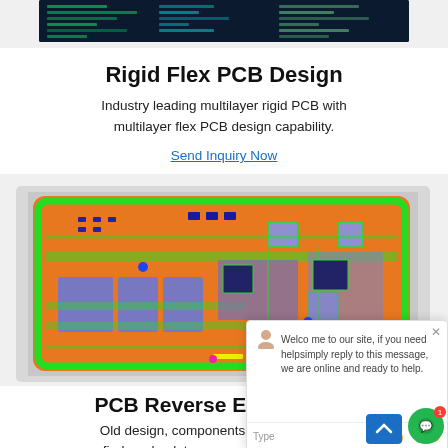[Figure (screenshot): Screenshot of PCB design software showing circuit layout with dark background and colored traces]
Rigid Flex PCB Design
Industry leading multilayer rigid PCB with multilayer flex PCB design capability.
Send Inquiry Now
[Figure (photo): Colorful PCB board design layout showing orange, green, blue, and purple layers representing a rigid-flex PCB with components and traces]
PCB Reverse Engineering
Old design, components on board hard to find or obsolete, our reverse engineering